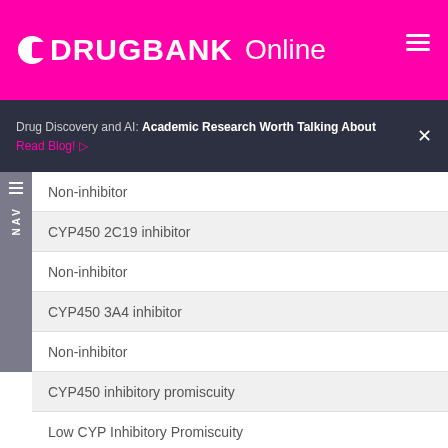DRUGBANK Online
Drug Discovery and AI: Academic Research Worth Talking About Read Blog!
Non-inhibitor
CYP450 2C19 inhibitor
Non-inhibitor
CYP450 3A4 inhibitor
Non-inhibitor
CYP450 inhibitory promiscuity
Low CYP Inhibitory Promiscuity
Ames test
Non AMES toxic
Carcinogenicity
Non-carcinogens